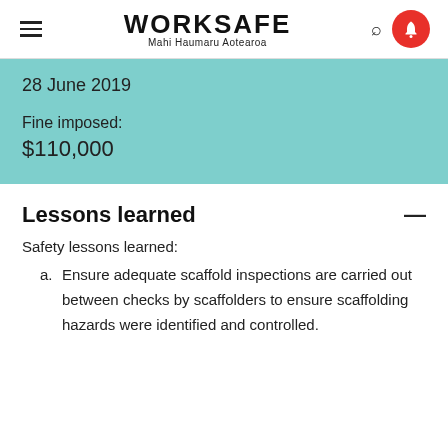WORKSAFE Mahi Haumaru Aotearoa
28 June 2019
Fine imposed:
$110,000
Lessons learned
Safety lessons learned:
a. Ensure adequate scaffold inspections are carried out between checks by scaffolders to ensure scaffolding hazards were identified and controlled.